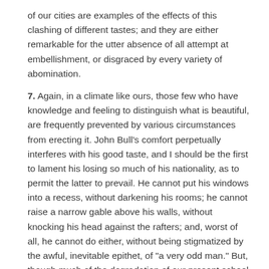of our cities are examples of the effects of this clashing of different tastes; and they are either remarkable for the utter absence of all attempt at embellishment, or disgraced by every variety of abomination.
7. Again, in a climate like ours, those few who have knowledge and feeling to distinguish what is beautiful, are frequently prevented by various circumstances from erecting it. John Bull's comfort perpetually interferes with his good taste, and I should be the first to lament his losing so much of his nationality, as to permit the latter to prevail. He cannot put his windows into a recess, without darkening his rooms; he cannot raise a narrow gable above his walls, without knocking his head against the rafters; and, worst of all, he cannot do either, without being stigmatized by the awful, inevitable epithet, of "a very odd man." But, though much of the degradation of our present school of architecture is owing to the want or the unfitness of patrons, surely it is yet more attributable to a lamentable deficiency of